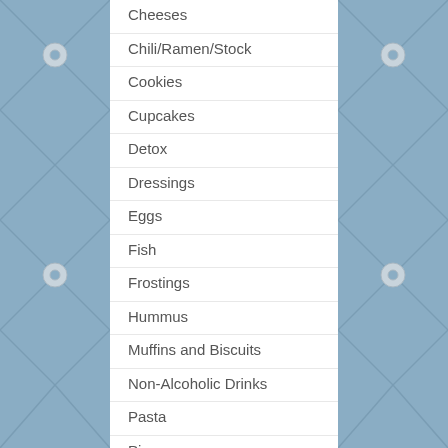Cheeses
Chili/Ramen/Stock
Cookies
Cupcakes
Detox
Dressings
Eggs
Fish
Frostings
Hummus
Muffins and Biscuits
Non-Alcoholic Drinks
Pasta
Pies
Pizza